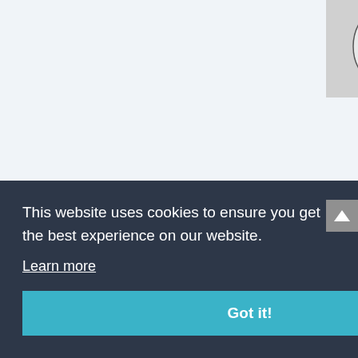[Figure (illustration): Avatar illustration of a cartoon character wearing a naval officer hat and sunglasses, black and white sketch style]
LCDR_FISH on January 6, 2 pm
There's a bit to pick apa that. Granted I've read s good essays on the hist on the shoulder of Mot Russia – but in all serio before the Soviet Union were a lot of other nati around. – and going ba in history Russia doesn lack Sea – albeit b eized Cri nt access they can iate safe utes if ne France d launching from the Car
This website uses cookies to ensure you get the best experience on our website.
Learn more
Got it!